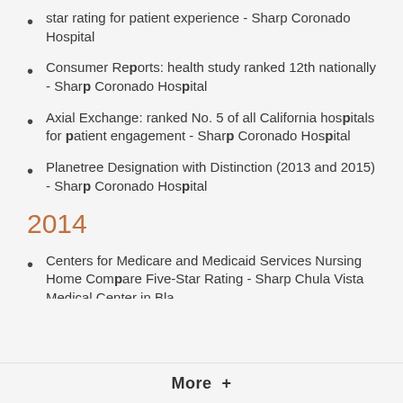star rating for patient experience - Sharp Coronado Hospital
Consumer Reports: health study ranked 12th nationally - Sharp Coronado Hospital
Axial Exchange: ranked No. 5 of all California hospitals for patient engagement - Sharp Coronado Hospital
Planetree Designation with Distinction (2013 and 2015) - Sharp Coronado Hospital
2014
Centers for Medicare and Medicaid Services Nursing Home Compare Five-Star Rating - Sharp Chula Vista Medical Center in Bla…